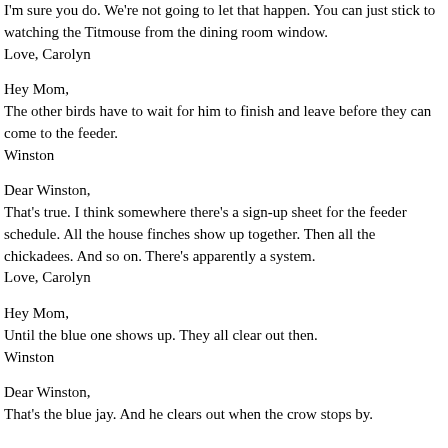I'm sure you do. We're not going to let that happen. You can just stick to watching the Titmouse from the dining room window.
Love, Carolyn
Hey Mom,
The other birds have to wait for him to finish and leave before they can come to the feeder.
Winston
Dear Winston,
That's true. I think somewhere there's a sign-up sheet for the feeder schedule. All the house finches show up together. Then all the chickadees. And so on. There's apparently a system.
Love, Carolyn
Hey Mom,
Until the blue one shows up. They all clear out then.
Winston
Dear Winston,
That's the blue jay. And he clears out when the crow stops by.